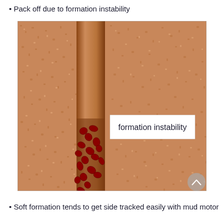Pack off due to formation instability
[Figure (illustration): Cross-section illustration showing a borehole (vertical brown column) through a sandy/granular formation. Red rock fragments/cuttings are shown falling/accumulating in the lower portion of the borehole, illustrating formation instability. A white text box overlay reads 'formation instability'.]
Soft formation tends to get side tracked easily with mud motor